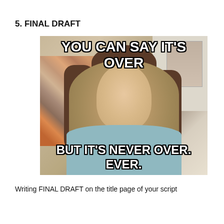5. FINAL DRAFT
[Figure (photo): Overly Attached Girlfriend meme image. A young woman with brown hair and wide eyes smiling intensely, with a collage of photos on the wall behind her. Top text: 'YOU CAN SAY IT'S OVER', bottom text: 'BUT IT'S NEVER OVER. EVER.']
Writing FINAL DRAFT on the title page of your script